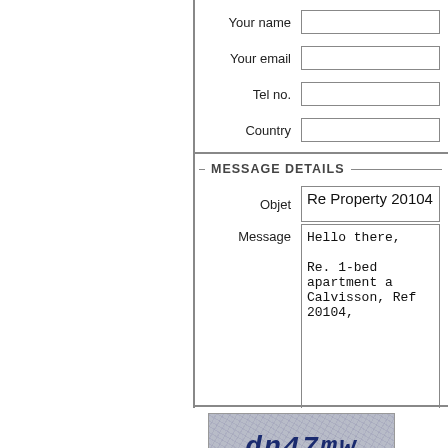Your name
Your email
Tel no.
Country
MESSAGE DETAILS
Objet
Re Property 20104
Message
Hello there,

Re. 1-bed apartment a
Calvisson, Ref 20104,
[Figure (other): CAPTCHA image showing text 'dn47mw' with noise/distortion background]
Please copy the letters above into the box below
Send